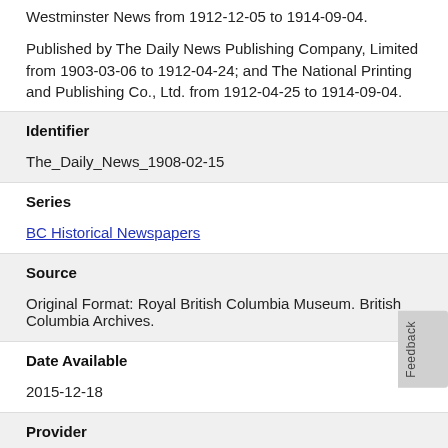Westminster News from 1912-12-05 to 1914-09-04.
Published by The Daily News Publishing Company, Limited from 1903-03-06 to 1912-04-24; and The National Printing and Publishing Co., Ltd. from 1912-04-25 to 1914-09-04.
Identifier
The_Daily_News_1908-02-15
Series
BC Historical Newspapers
Source
Original Format: Royal British Columbia Museum. British Columbia Archives.
Date Available
2015-12-18
Provider
Vancouver : University of British Columbia Library